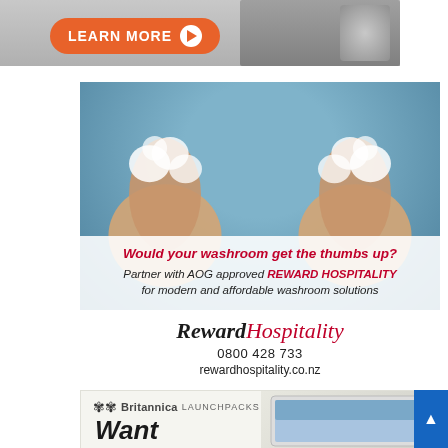[Figure (photo): Top advertisement banner with an orange 'LEARN MORE' button with play icon and a device/speaker image on the right side]
[Figure (photo): Reward Hospitality advertisement showing person with soapy thumbs up, headline 'Would your washroom get the thumbs up?', subtext 'Partner with AOG approved REWARD HOSPITALITY for modern and affordable washroom solutions', Reward Hospitality logo, phone number 0800 428 733, and website rewardhospitality.co.nz]
[Figure (photo): Partial Britannica LaunchPacks advertisement showing logo and 'Want' text with tablet device image]